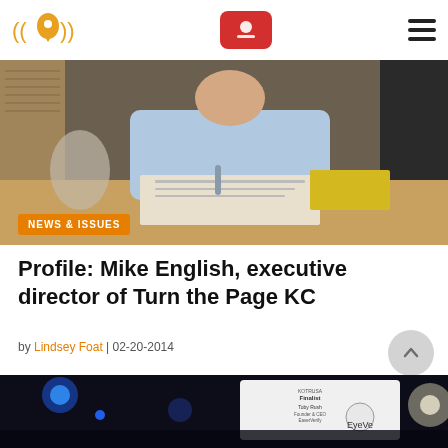Logo navigation bar with red button and hamburger menu
[Figure (photo): Person in light blue shirt seated at a table with papers and documents, NEWS & ISSUES badge overlay]
NEWS & ISSUES
Profile: Mike English, executive director of Turn the Page KC
by Lindsey Foat | 02-20-2014
[Figure (photo): Dark event venue with blue lighting, projection screen showing Finalist Toby Rush Founder & CEO EaserVerify and EyeVerify logo]